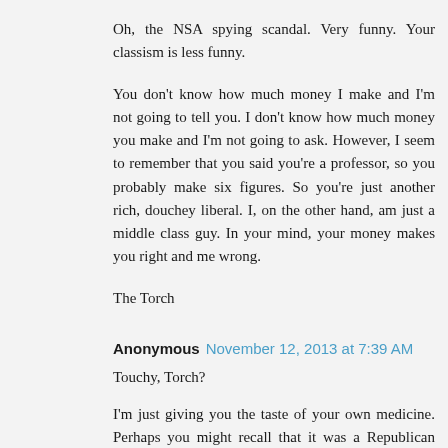Oh, the NSA spying scandal. Very funny. Your classism is less funny.
You don't know how much money I make and I'm not going to tell you. I don't know how much money you make and I'm not going to ask. However, I seem to remember that you said you're a professor, so you probably make six figures. So you're just another rich, douchey liberal. I, on the other hand, am just a middle class guy. In your mind, your money makes you right and me wrong.
The Torch
Anonymous  November 12, 2013 at 7:39 AM
Touchy, Torch?
I'm just giving you the taste of your own medicine. Perhaps you might recall that it was a Republican presidential candidate who...